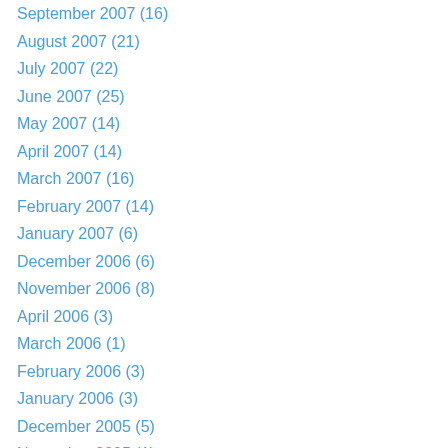September 2007 (16)
August 2007 (21)
July 2007 (22)
June 2007 (25)
May 2007 (14)
April 2007 (14)
March 2007 (16)
February 2007 (14)
January 2007 (6)
December 2006 (6)
November 2006 (8)
April 2006 (3)
March 2006 (1)
February 2006 (3)
January 2006 (3)
December 2005 (5)
November 2005 (1)
October 2005 (1)
August 2005 (5)
July 2005 (15)